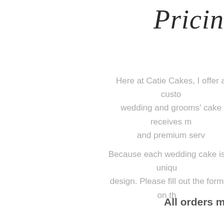Pricing
Here at Catie Cakes, I offer a custo... wedding and grooms' cake receives m... and premium serv...
Because each wedding cake is uniqu... design. Please fill out the form on th...
All orders must meet